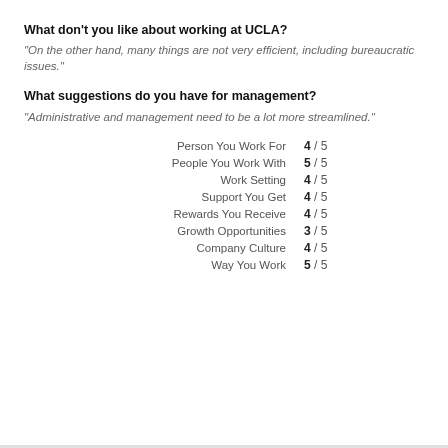What don't you like about working at UCLA?
"On the other hand, many things are not very efficient, including bureaucratic issues."
What suggestions do you have for management?
"Administrative and management need to be a lot more streamlined."
| Category | Rating |
| --- | --- |
| Person You Work For | 4 / 5 |
| People You Work With | 5 / 5 |
| Work Setting | 4 / 5 |
| Support You Get | 4 / 5 |
| Rewards You Receive | 4 / 5 |
| Growth Opportunities | 3 / 5 |
| Company Culture | 4 / 5 |
| Way You Work | 5 / 5 |